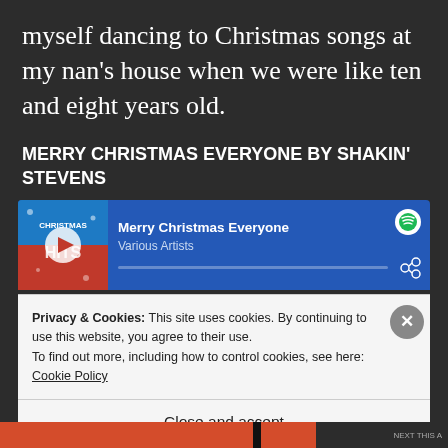myself dancing to Christmas songs at my nan's house when we were like ten and eight years old.
MERRY CHRISTMAS EVERYONE BY SHAKIN' STEVENS
[Figure (screenshot): Spotify embedded player showing 'Merry Christmas Everyone' by Various Artists, with album art labeled 'Christmas Hits', play button, progress bar, Spotify logo, and share icon.]
Privacy & Cookies: This site uses cookies. By continuing to use this website, you agree to their use.
To find out more, including how to control cookies, see here: Cookie Policy
Close and accept